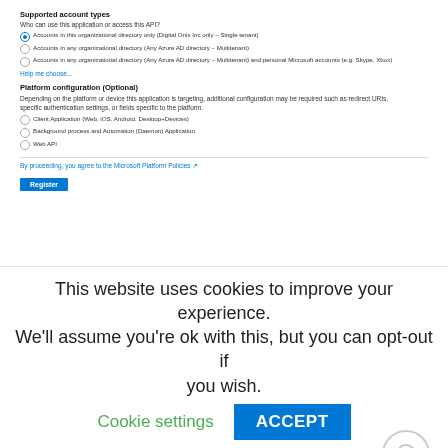Supported account types
Who can use this application or access this API?
Accounts in this organizational directory only (Digital Onix Inc only - Single tenant)
Accounts in any organizational directory (Any Azure AD directory - Multitenant)
Accounts in any organizational directory (Any Azure AD directory - Multitenant) and personal Microsoft accounts (e.g. Skype, Xbox)
Help me choose...
Platform configuration (Optional)
Depending on the platform or device this application is targeting, additional configuration may be required such as redirect URIs, specific authentication settings, or fields specific to the platform.
Client Application (Web, iOS, Android, Desktop+Devices)
Background process and Automation (Daemon) Application
Web API
By proceeding, you agree to the Microsoft Platform Policies
Register
3. Take note of the Application (client) ID and Directory (tenant) ID fields. They will be used later on to configure the Service Provider application and Deploy
This website uses cookies to improve your experience. We'll assume you're ok with this, but you can opt-out if you wish.
Cookie settings
ACCEPT